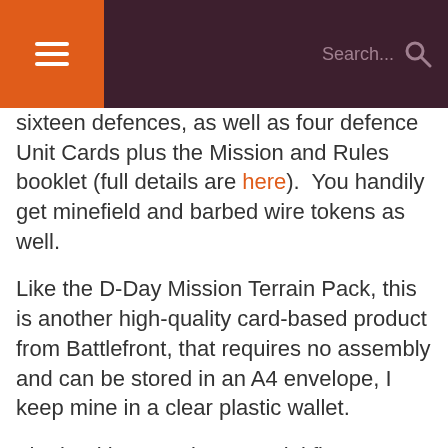☰  Search...  🔍
sixteen defences, as well as four defence Unit Cards plus the Mission and Rules booklet (full details are here).  You handily get minefield and barbed wire tokens as well.
Like the D-Day Mission Terrain Pack, this is another high-quality card-based product from Battlefront, that requires no assembly and can be stored in an A4 envelope, I keep mine in a clear plastic wallet.
The booklet contains two mini five-game campaigns using a mix of existing and new scenarios in this booklet; all using the provided terrain and unit items. The first mini-campaign covers fighting over the